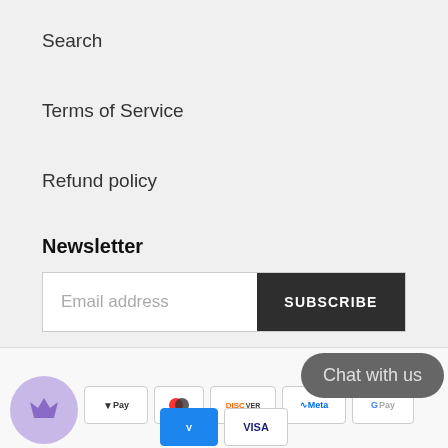Search
Terms of Service
Refund policy
Newsletter
Email address  SUBSCRIBE
[Figure (infographic): Footer bar with payment method icons (Apple Pay, Diners Club, Discover, Meta Pay, Google Pay, Venmo, Visa) and a crown logo icon, plus a Chat with us button overlay]